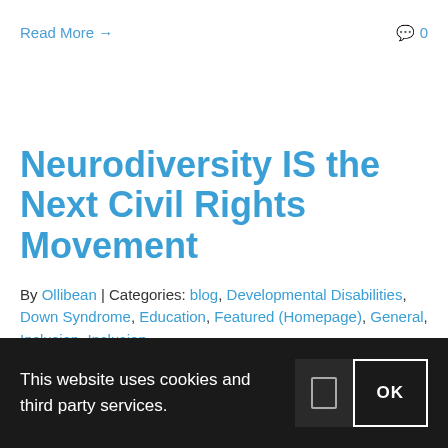Read More →
🗨 0
Neurodiversity IS the Next Civil Rights Movement
By Ollibean | Categories: blog, Developmental Disabilities, Down Syndrome, Education, Featured (Homepage), General, Inclusion, Inclusion
This website uses cookies and third party services.